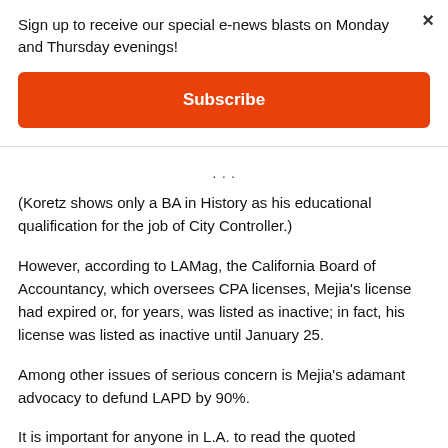Sign up to receive our special e-news blasts on Monday and Thursday evenings!
Subscribe
(Koretz shows only a BA in History as his educational qualification for the job of City Controller.)
However, according to LAMag, the California Board of Accountancy, which oversees CPA licenses, Mejia's license had expired or, for years, was listed as inactive; in fact, his license was listed as inactive until January 25.
Among other issues of serious concern is Mejia's adamant advocacy to defund LAPD by 90%.
It is important for anyone in L.A. to read the quoted